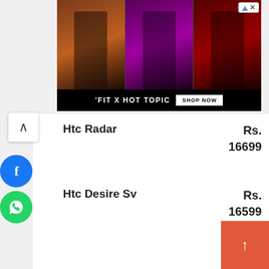[Figure (photo): Advertisement banner showing three photos of people in dark clothing with text 'FIT X HOT TOPIC' and 'SHOP NOW' button]
Htc Radar
Rs. 16699
Htc Desire Sv
Rs. 16599
Blackberry Curve 9350
R...